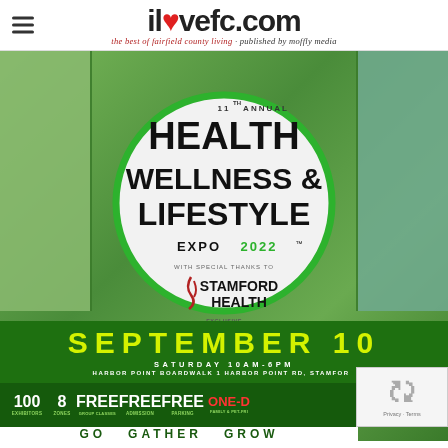ilovefc.com - the best of fairfield county living · published by moffly media
[Figure (photo): 11th Annual Health Wellness & Lifestyle Expo 2022 promotional poster/flyer. Features a large circular logo with green border containing the event name, 'With Special Thanks to Stamford Health - Exclusive Healthcare Partner'. Background shows collage of event photos. Bottom section shows date: September 10, Saturday 10AM-6PM, Harbor Point Boardwalk, 1 Harbor Point Rd, Stamford. Stats bar shows: 100 Exhibitors, 8 Zones, Free Group Classes, Free Admission, Free Parking, One-Day Family & Pet-Fri[endly]. Bottom shows partial 'GO GATHER GROW' text.]